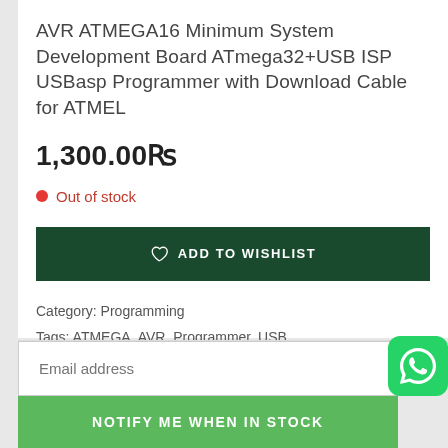AVR ATMEGA16 Minimum System Development Board ATmega32+USB ISP USBasp Programmer with Download Cable for ATMEL
1,300.00₨
Out of stock
ADD TO WISHLIST
Category: Programming
Tags: ATMEGA, AVR, Programmer, USB
Email address
NOTIFY ME WHEN IN STOCK